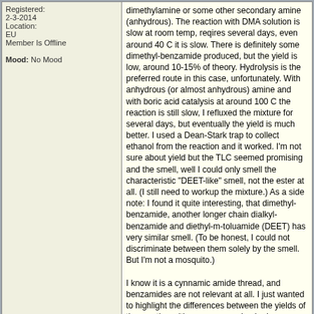Registered: 2-3-2014
Location: EU
Member Is Offline
Mood: No Mood
dimethylamine or some other secondary amine (anhydrous). The reaction with DMA solution is slow at room temp, reqires several days, even around 40 C it is slow. There is definitely some dimethyl-benzamide produced, but the yield is low, around 10-15% of theory. Hydrolysis is the preferred route in this case, unfortunately. With anhydrous (or almost anhydrous) amine and with boric acid catalysis at around 100 C the reaction is still slow, I refluxed the mixture for several days, but eventually the yield is much better. I used a Dean-Stark trap to collect ethanol from the reaction and it worked. I'm not sure about yield but the TLC seemed promising and the smell, well I could only smell the characteristic "DEET-like" smell, not the ester at all. (I still need to workup the mixture.) As a side note: I found it quite interesting, that dimethyl-benzamide, another longer chain dialkyl-benzamide and diethyl-m-toluamide (DEET) has very similar smell. (To be honest, I could not discriminate between them solely by the smell. But I'm not a mosquito.)

I know it is a cynnamic amide thread, and benzamides are not relevant at all. I just wanted to highlight the differences between the yields of the reaction with aquaeous and anhydrous amines.
PROFILE   FIND
DrDevice
Hazard to Self
★★
posted on 30-8-2020 at 17:41